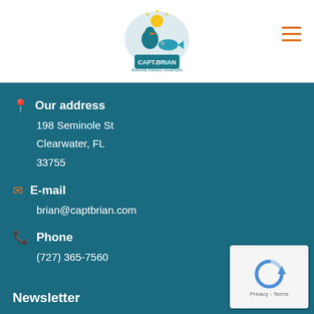[Figure (logo): Capt. Brian inshore fishing charters logo with pelican and fish graphics, teal and yellow colors]
Our address
198 Seminole St
Clearwater, FL
33755
E-mail
brian@captbrian.com
Phone
(727) 365-7560
Newsletter